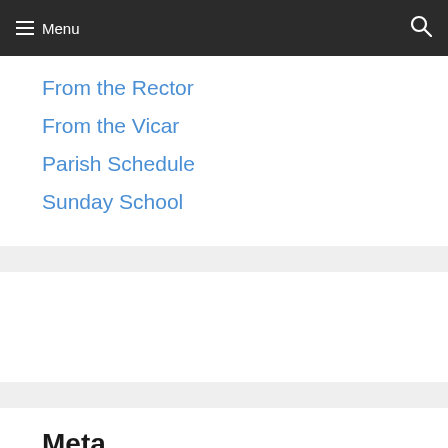Menu
From the Rector
From the Vicar
Parish Schedule
Sunday School
Meta